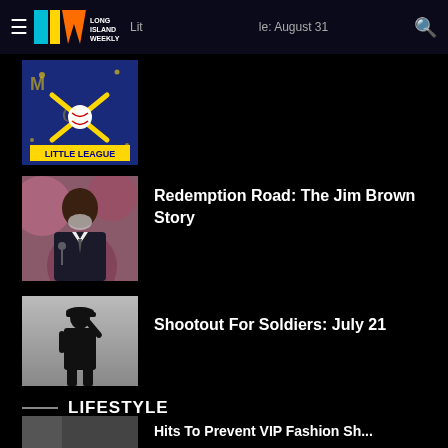Long Island Weekly — Little League: August 31
[Figure (photo): Little League baseball logo with crossed bats and ball on blue background]
[Figure (photo): Jim Brown, an older Black man with white beard, wearing a suit and tie at a podium]
Redemption Road: The Jim Brown Story
[Figure (photo): Silhouette of a military soldier saluting against a grey background]
Shootout For Soldiers: July 21
LIFESTYLE
[Figure (photo): Partial view of a bottom article image (cropped)]
Hits To Prevent VIP Fashion Sh...